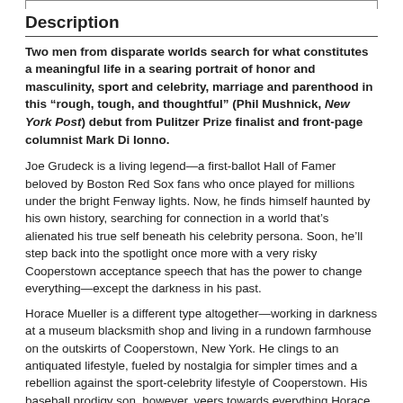Description
Two men from disparate worlds search for what constitutes a meaningful life in a searing portrait of honor and masculinity, sport and celebrity, marriage and parenthood in this “rough, tough, and thoughtful” (Phil Mushnick, New York Post) debut from Pulitzer Prize finalist and front-page columnist Mark Di Ionno.
Joe Grudeck is a living legend—a first-ballot Hall of Famer beloved by Boston Red Sox fans who once played for millions under the bright Fenway lights. Now, he finds himself haunted by his own history, searching for connection in a world that’s alienated his true self beneath his celebrity persona. Soon, he’ll step back into the spotlight once more with a very risky Cooperstown acceptance speech that has the power to change everything—except the darkness in his past.
Horace Mueller is a different type altogether—working in darkness at a museum blacksmith shop and living in a rundown farmhouse on the outskirts of Cooperstown, New York. He clings to an antiquated lifestyle, fueled by nostalgia for simpler times and a rebellion against the sport-celebrity lifestyle of Cooperstown. His baseball prodigy son, however, veers towards everything Horace has spent his life railing against.
Gods of Wood and Stone is the story of these two men—a timeless, but strikingly singular tale of the responsibilities of manhood and the pitfalls of